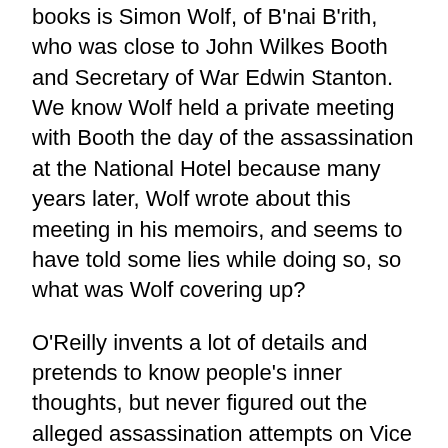books is Simon Wolf, of B'nai B'rith, who was close to John Wilkes Booth and Secretary of War Edwin Stanton. We know Wolf held a private meeting with Booth the day of the assassination at the National Hotel because many years later, Wolf wrote about this meeting in his memoirs, and seems to have told some lies while doing so, so what was Wolf covering up?
O'Reilly invents a lot of details and pretends to know people's inner thoughts, but never figured out the alleged assassination attempts on Vice President Johnson, General Grant and Edwin Stanton were all invented for the trial, and there's not a shred of evidence anyone was supposed to be killed that night except Lincoln and William Seward, which makes total sense since they were the only ones pushing for Southern forgiveness. Lincoln wanted to pardon the South and allow them back into Congress after the war, something that...